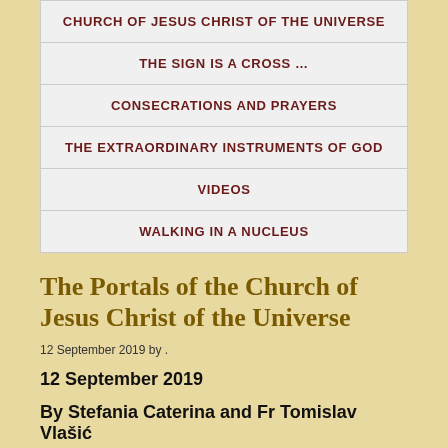CHURCH OF JESUS CHRIST OF THE UNIVERSE
THE SIGN IS A CROSS …
CONSECRATIONS AND PRAYERS
THE EXTRAORDINARY INSTRUMENTS OF GOD
VIDEOS
WALKING IN A NUCLEUS
The Portals of the Church of Jesus Christ of the Universe
12 September 2019 by .
12 September 2019
By Stefania Caterina and Fr Tomislav Vlašić